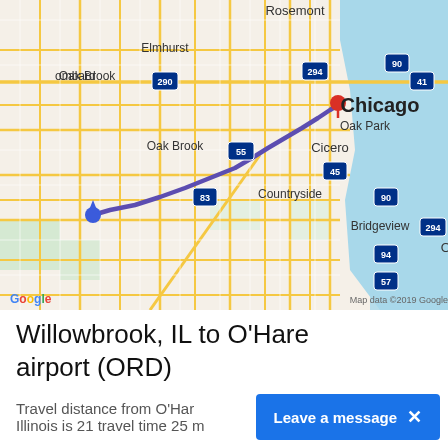[Figure (map): Google Maps screenshot showing a route from Willowbrook/Countryside, IL to Chicago, with a purple route line traveling northeast toward downtown Chicago. The map shows suburbs including Rosemont, Elmhurst, Lombard, Oak Brook, Cicero, Oak Park, Bridgeview, Oak Lawn, and Blue Island. Interstate labels visible: 290, 294, 90, 41, 45, 83, 55, 94, 57. Map data ©2019 Google attribution visible.]
Willowbrook, IL to O'Hare airport (ORD)
Travel distance from O'Har... Illinois is 21 travel time 25 m...